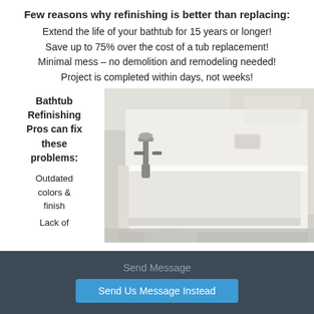Few reasons why refinishing is better than replacing:
Extend the life of your bathtub for 15 years or longer!
Save up to 75% over the cost of a tub replacement!
Minimal mess – no demolition and remodeling needed!
Project is completed within days, not weeks!
Bathtub Refinishing Pros can fix these problems:
Outdated colors & finish
Lack of
[Figure (photo): A white bathtub with chrome faucet fixtures in a bathroom setting]
Send Message
Send Us Message Instead